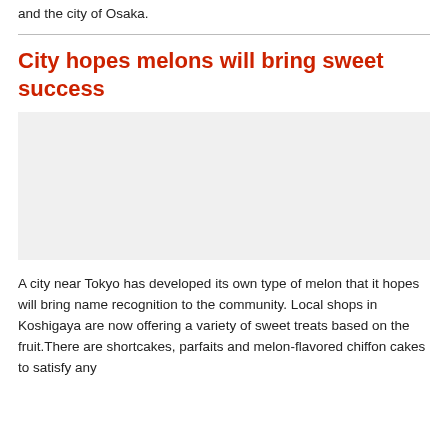and the city of Osaka.
City hopes melons will bring sweet success
[Figure (photo): Photo placeholder related to melons or Koshigaya city]
A city near Tokyo has developed its own type of melon that it hopes will bring name recognition to the community. Local shops in Koshigaya are now offering a variety of sweet treats based on the fruit.There are shortcakes, parfaits and melon-flavored chiffon cakes to satisfy any